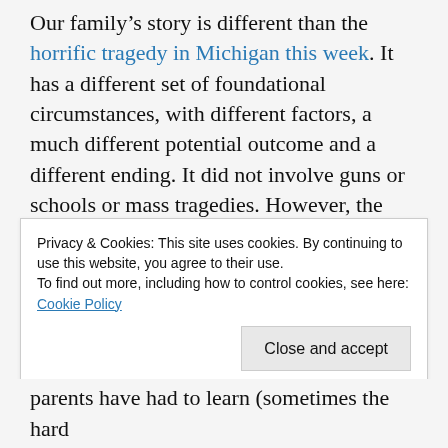Our family's story is different than the horrific tragedy in Michigan this week. It has a different set of foundational circumstances, with different factors, a much different potential outcome and a different ending. It did not involve guns or schools or mass tragedies. However, the similarities are there, an apparent mental health issue, disturbing thoughts/remarks, concerns by professionals
Privacy & Cookies: This site uses cookies. By continuing to use this website, you agree to their use. To find out more, including how to control cookies, see here: Cookie Policy
parents have had to learn (sometimes the hard